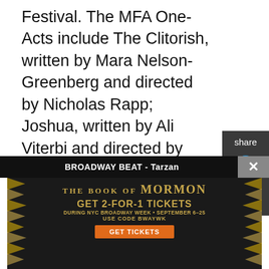Festival. The MFA One-Acts include The Clitorish, written by Mara Nelson-Greenberg and directed by Nicholas Rapp; Joshua, written by Ali Viterbi and directed by Vanessa Stalling; and Tambo and Bones, written by Dave Harris and directed by Joseph Hendel.
The 2018 Wagner New Play Festival at UC San Diego features world premiere productions written by our talented MFA playwrights, and directed, acted, stage-managed and designed by our nationally-acclaimed MFA companies. The plays produced in the Wagner New Plays Festival represent some of the most original and groundbreaking new voices in
[Figure (screenshot): Social share sidebar with 'share' label, Twitter bird icon, and Facebook icon on dark grey background]
[Figure (screenshot): Bottom black bar reading 'BROADWAY BEAT - Tarzan' with a grey close button (X)]
[Figure (advertisement): Ad for The Book of Mormon - GET 2-FOR-1 TICKETS DURING NYC BROADWAY WEEK • SEPTEMBER 6-25 USE CODE BWAYWK GET TICKETS]